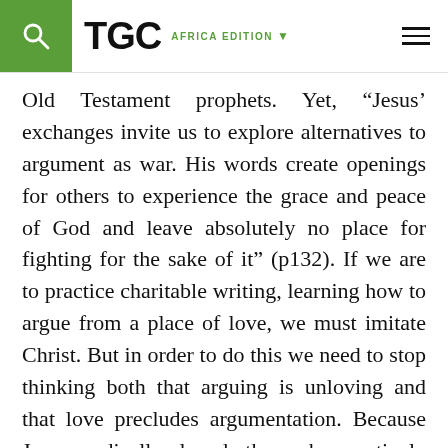TGC AFRICA EDITION
Old Testament prophets. Yet, “Jesus’ exchanges invite us to explore alternatives to argument as war. His words create openings for others to experience the grace and peace of God and leave absolutely no place for fighting for the sake of it” (p132). If we are to practice charitable writing, learning how to argue from a place of love, we must imitate Christ. But in order to do this we need to stop thinking both that arguing is unloving and that love precludes argumentation. Because Jesus radically loved those he routinely disagreed with, we should learn to do the same. This will only become possible once we